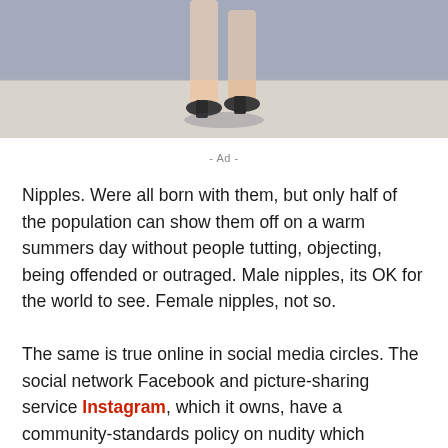[Figure (photo): Bottom portion of a photo showing a person's legs and feet wearing heels, walking on a light-colored surface with shadow, against a blue-grey background wall.]
- Ad -
Nipples. Were all born with them, but only half of the population can show them off on a warm summers day without people tutting, objecting, being offended or outraged. Male nipples, its OK for the world to see. Female nipples, not so.
The same is true online in social media circles. The social network Facebook and picture-sharing service Instagram, which it owns, have a community-standards policy on nudity which permits male nipples but not female ones. It states: We remove photographs of people displaying genitals we also restrict some